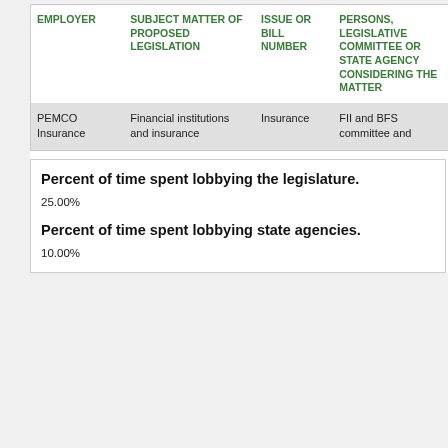| EMPLOYER | SUBJECT MATTER OF PROPOSED LEGISLATION | ISSUE OR BILL NUMBER | PERSONS, LEGISLATIVE COMMITTEE OR STATE AGENCY CONSIDERING THE MATTER |
| --- | --- | --- | --- |
| PEMCO Insurance | Financial institutions and insurance | Insurance | FII and BFS committee and |
Percent of time spent lobbying the legislature.
25.00%
Percent of time spent lobbying state agencies.
10.00%